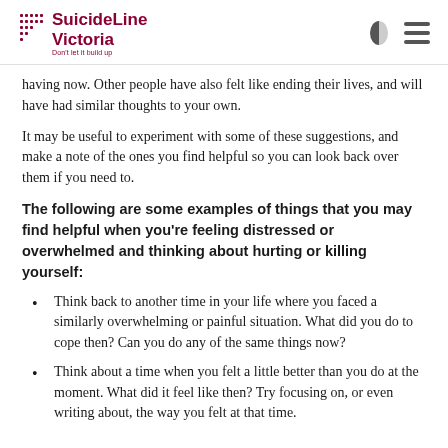SuicideLine Victoria — Don't let it build up
having now. Other people have also felt like ending their lives, and will have had similar thoughts to your own.
It may be useful to experiment with some of these suggestions, and make a note of the ones you find helpful so you can look back over them if you need to.
The following are some examples of things that you may find helpful when you're feeling distressed or overwhelmed and thinking about hurting or killing yourself:
Think back to another time in your life where you faced a similarly overwhelming or painful situation. What did you do to cope then? Can you do any of the same things now?
Think about a time when you felt a little better than you do at the moment. What did it feel like then? Try focusing on, or even writing about, the way you felt at that time.